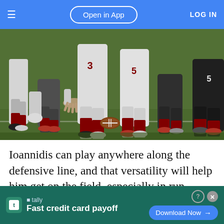≡   Open in App   LOG IN
[Figure (photo): Close-up photo of NFL football players at the line of scrimmage, showing legs and lower bodies in white and dark red uniforms with cleats on a green grass field.]
Ioannidis can play anywhere along the defensive line, and that versatility will help him get on the field, especially in run-stopping situations. However, he appears to be pretty far down the depth chart at this time... deve...
[Figure (infographic): Advertisement banner for Tally app: 'Fast credit card payoff' with a 'Download Now' button on a dark green background.]